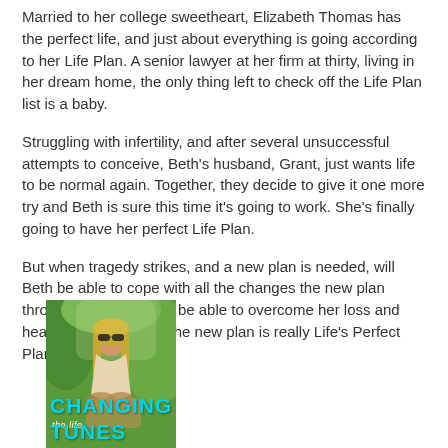Married to her college sweetheart, Elizabeth Thomas has the perfect life, and just about everything is going according to her Life Plan. A senior lawyer at her firm at thirty, living in her dream home, the only thing left to check off the Life Plan list is a baby.
Struggling with infertility, and after several unsuccessful attempts to conceive, Beth's husband, Grant, just wants life to be normal again. Together, they decide to give it one more try and Beth is sure this time it's going to work. She's finally going to have her perfect Life Plan.
But when tragedy strikes, and a new plan is needed, will Beth be able to cope with all the changes the new plan throws at her? Will she be able to overcome her loss and heartache to discover the new plan is really Life's Perfect Plan?
[Figure (photo): Book cover of 'Changing Tunes' showing a woman with sunglasses and long blonde hair sitting outdoors against a green background, with the title text 'CHANGING' and 'TUNES' in cyan/teal bold letters at the bottom.]